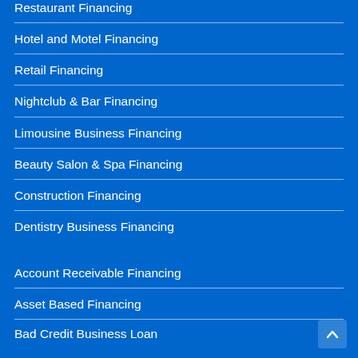Restaurant Financing
Hotel and Motel Financing
Retail Financing
Nightclub & Bar Financing
Limousine Business Financing
Beauty Salon & Spa Financing
Construction Financing
Dentistry Business Financing
Account Receivable Financing
Asset Based Financing
Bad Credit Business Loan